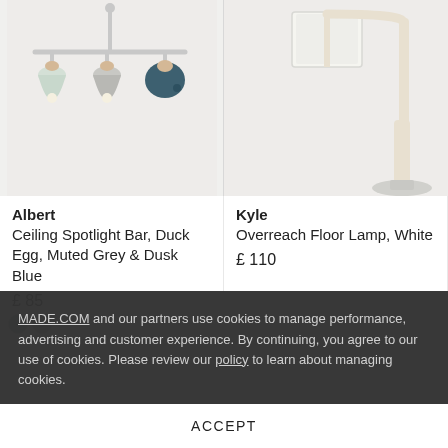[Figure (photo): Albert Ceiling Spotlight Bar with three spotlights in Duck Egg, Muted Grey, and Dusk Blue colors on a light grey background]
[Figure (photo): Kyle Overreach Floor Lamp in White with arched arm and drum shade on a light grey background]
Albert
Ceiling Spotlight Bar, Duck Egg, Muted Grey & Dusk Blue
£ 85
Kyle
Overreach Floor Lamp, White
£ 110
MADE.COM and our partners use cookies to manage performance, advertising and customer experience. By continuing, you agree to our use of cookies. Please review our policy to learn about managing cookies.
ACCEPT